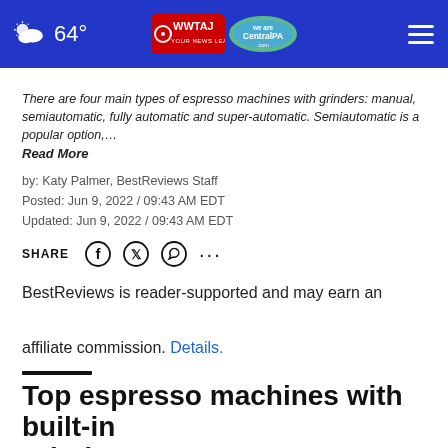64° WWTAJ CentralPA.com
There are four main types of espresso machines with grinders: manual, semiautomatic, fully automatic and super-automatic. Semiautomatic is a popular option,… Read More
by: Katy Palmer, BestReviews Staff
Posted: Jun 9, 2022 / 09:43 AM EDT
Updated: Jun 9, 2022 / 09:43 AM EDT
SHARE
BestReviews is reader-supported and may earn an affiliate commission. Details.
Top espresso machines with built-in grinders